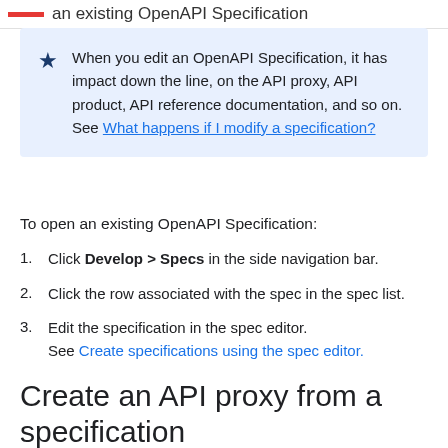an existing OpenAPI Specification
When you edit an OpenAPI Specification, it has impact down the line, on the API proxy, API product, API reference documentation, and so on. See What happens if I modify a specification?
To open an existing OpenAPI Specification:
1. Click Develop > Specs in the side navigation bar.
2. Click the row associated with the spec in the spec list.
3. Edit the specification in the spec editor.
See Create specifications using the spec editor.
Create an API proxy from a specification in the spec list